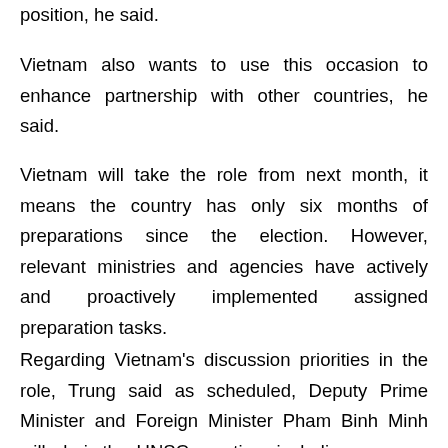position, he said.
Vietnam also wants to use this occasion to enhance partnership with other countries, he said.
Vietnam will take the role from next month, it means the country has only six months of preparations since the election. However, relevant ministries and agencies have actively and proactively implemented assigned preparation tasks.
Regarding Vietnam's discussion priorities in the role, Trung said as scheduled, Deputy Prime Minister and Foreign Minister Pham Binh Minh will chair the UNSC meeting, including an open discussion session at minister level with the theme of celebrating the 75th